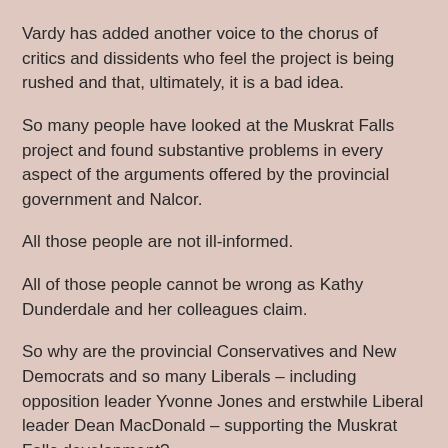Vardy has added another voice to the chorus of critics and dissidents who feel the project is being rushed and that, ultimately, it is a bad idea.
So many people have looked at the Muskrat Falls project and found substantive problems in every aspect of the arguments offered by the provincial government and Nalcor.
All those people are not ill-informed.
All of those people cannot be wrong as Kathy Dunderdale and her colleagues claim.
So why are the provincial Conservatives and New Democrats and so many Liberals – including opposition leader Yvonne Jones and erstwhile Liberal leader Dean MacDonald – supporting the Muskrat Falls development?
- srbp -
Edward Hollett at 07:30